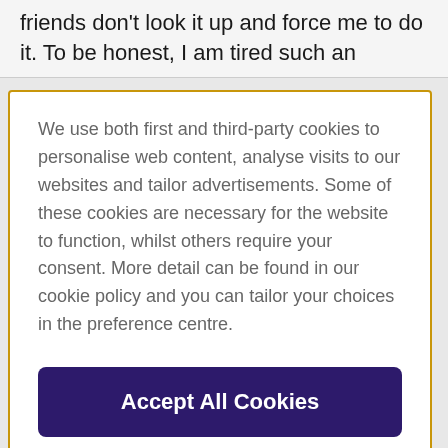friends don't look it up and force me to do it. To be honest, I am tired such an
We use both first and third-party cookies to personalise web content, analyse visits to our websites and tailor advertisements. Some of these cookies are necessary for the website to function, whilst others require your consent. More detail can be found in our cookie policy and you can tailor your choices in the preference centre.
Accept All Cookies
Cookies Settings